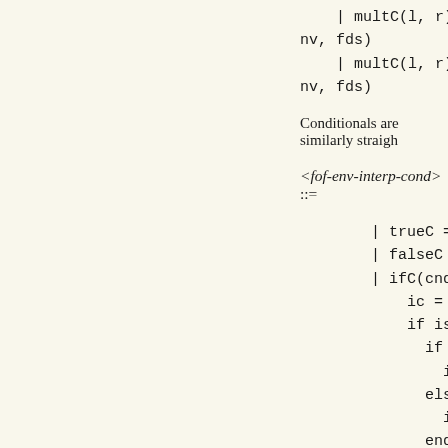| multC(l, r) => ari...
nv, fds)
    | multC(l, r) => ari...
nv, fds)
Conditionals are similarly straigh...
| trueC => boolV(true...
| falseC => boolV(fa...
| ifC(cnd, thn, els)
    ic = interp(cnd, nv...
    if is-boolV(ic):
      if ic.b:
        interp(thn, nv...
      else:
        interp(els, nv...
      end
    else:
      raise('not a boo...